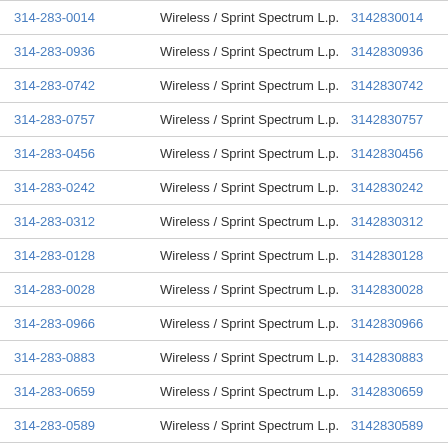| Phone | Carrier | Number | Action |
| --- | --- | --- | --- |
| 314-283-0014 | Wireless / Sprint Spectrum L.p. | 3142830014 | View |
| 314-283-0936 | Wireless / Sprint Spectrum L.p. | 3142830936 | View |
| 314-283-0742 | Wireless / Sprint Spectrum L.p. | 3142830742 | View |
| 314-283-0757 | Wireless / Sprint Spectrum L.p. | 3142830757 | View |
| 314-283-0456 | Wireless / Sprint Spectrum L.p. | 3142830456 | View |
| 314-283-0242 | Wireless / Sprint Spectrum L.p. | 3142830242 | View |
| 314-283-0312 | Wireless / Sprint Spectrum L.p. | 3142830312 | View |
| 314-283-0128 | Wireless / Sprint Spectrum L.p. | 3142830128 | View |
| 314-283-0028 | Wireless / Sprint Spectrum L.p. | 3142830028 | View |
| 314-283-0966 | Wireless / Sprint Spectrum L.p. | 3142830966 | View |
| 314-283-0883 | Wireless / Sprint Spectrum L.p. | 3142830883 | View |
| 314-283-0659 | Wireless / Sprint Spectrum L.p. | 3142830659 | View |
| 314-283-0589 | Wireless / Sprint Spectrum L.p. | 3142830589 | View |
| 314-283-0849 | Wireless / Sprint Spectrum L.p. | 3142830849 | View |
| 314-283-0064 | Wireless / Sprint Spectrum L.p. | 3142830064 | View |
| 314-283-0149 | Wireless / Sprint Spectrum L.p. | 3142830149 | View |
| 314-283-0275 | Wireless / Sprint Spectrum L.p. | 3142830275 | View |
| 314-283-0859 | Wireless / Sprint Spectrum L.p. | 3142830859 | View |